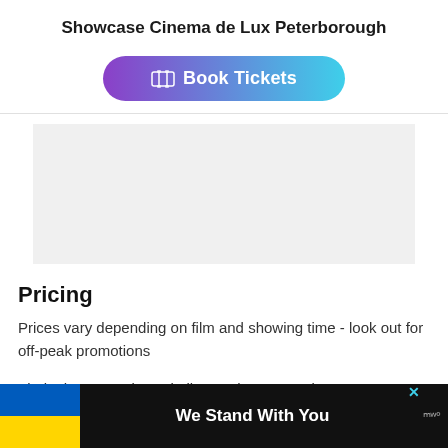Showcase Cinema de Lux Peterborough
[Figure (other): Book Tickets button with gradient purple to cyan background and ticket icon]
[Figure (other): Gray placeholder/ad box area]
Pricing
Prices vary depending on film and showing time - look out for off-peak promotions
Find other attractions similar to Showcase Cinema de Lux...
[Figure (infographic): We Stand With You banner with Ukrainian flag colors (blue and yellow), close X button, and weather/app icon]